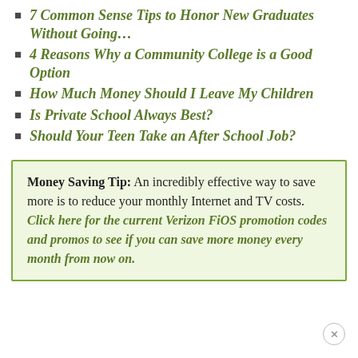7 Common Sense Tips to Honor New Graduates Without Going…
4 Reasons Why a Community College is a Good Option
How Much Money Should I Leave My Children
Is Private School Always Best?
Should Your Teen Take an After School Job?
Money Saving Tip: An incredibly effective way to save more is to reduce your monthly Internet and TV costs. Click here for the current Verizon FiOS promotion codes and promos to see if you can save more money every month from now on.